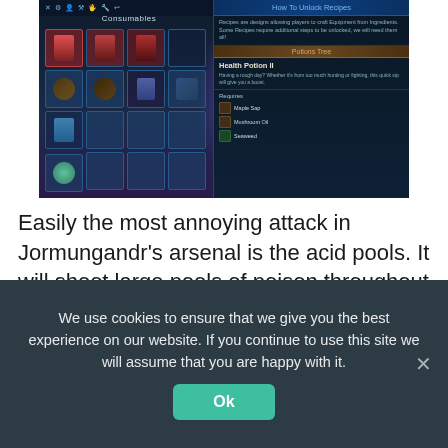[Figure (screenshot): Game UI screenshot showing a crafting/recipe menu. Left panel shows 'Consumables' grid with item icons. Right panel shows 'How To Unlock Recipes', 'Potions Tree', 'Health Potion II' recipe with ingredients: Maple Sap, Mushroom Oil, Seaweed. Center shows a glowing purple character.]
Easily the most annoying attack in Jormungandr's arsenal is the acid pools. It will shoot large pools of poison throughout the fight, giving massive area denial and dealing a lot of damage. If you walk through or get hit by the poison, you'll
We use cookies to ensure that we give you the best experience on our website. If you continue to use this site we will assume that you are happy with it.
Ok